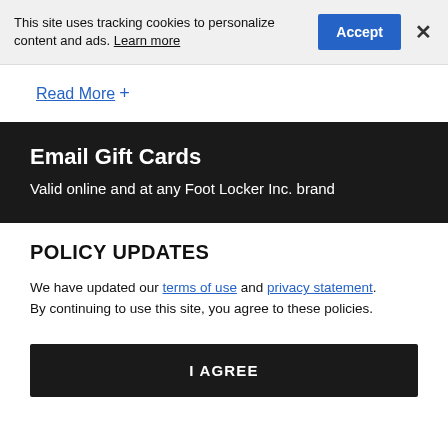This site uses tracking cookies to personalize content and ads. Learn more
Read More +
Email Gift Cards
Valid online and at any Foot Locker Inc. brand
POLICY UPDATES
We have updated our terms of use and privacy statement. By continuing to use this site, you agree to these policies.
I AGREE